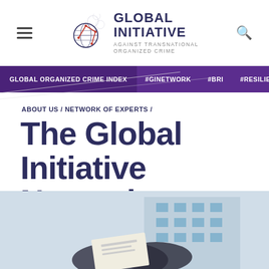[Figure (logo): Global Initiative Against Transnational Organized Crime logo with globe graphic and text]
GLOBAL ORGANIZED CRIME INDEX / #GINETWORK / #BRI / #RESILIENCE
ABOUT US / NETWORK OF EXPERTS /
The Global Initiative Network